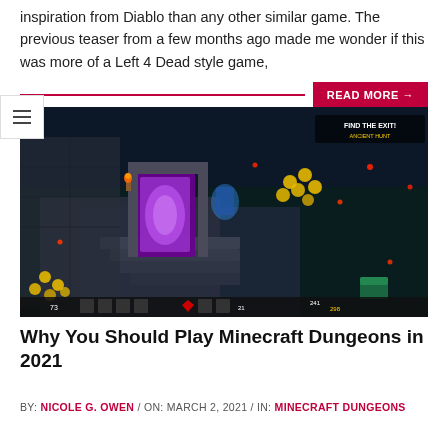inspiration from Diablo than any other similar game. The previous teaser from a few months ago made me wonder if this was more of a Left 4 Dead style game,
READ MORE →
[Figure (screenshot): A Minecraft Dungeons gameplay screenshot showing an isometric dungeon view with a purple Nether portal, cobblestone stairs, gold coins, glowing red orbs scattered around, and a HUD at the bottom. Upper right shows 'FIND THE EXIT! ANCIENT HUNT' text.]
Why You Should Play Minecraft Dungeons in 2021
BY: NICOLE G. OWEN / ON: MARCH 2, 2021 / IN: MINECRAFT DUNGEONS